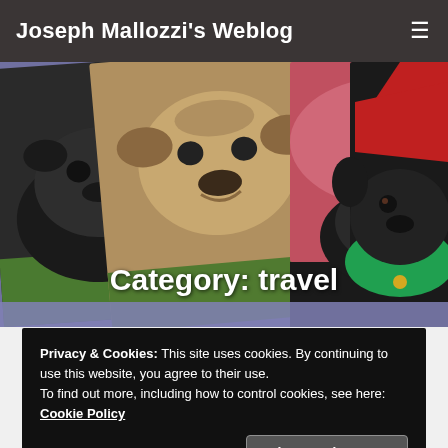Joseph Mallozzi's Weblog
[Figure (photo): Banner image collage of pug dogs with Category: travel text overlay. Left shows a black pug, center shows a tan pug and a black pug under a pink blanket, right shows a black pug in a red and green elf costume. A lavender/purple strip runs at the bottom.]
Category: travel
Privacy & Cookies: This site uses cookies. By continuing to use this website, you agree to their use.
To find out more, including how to control cookies, see here: Cookie Policy
Close and accept